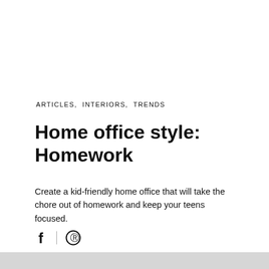ARTICLES,  INTERIORS,  TRENDS
Home office style: Homework
Create a kid-friendly home office that will take the chore out of homework and keep your teens focused.
[Figure (other): Social sharing icons: Facebook (f) and Pinterest (circle with P)]